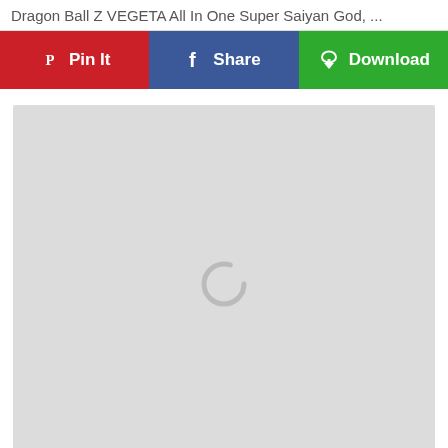Dragon Ball Z VEGETA All In One Super Saiyan God, ...
[Figure (screenshot): Three action buttons in a row: Pinterest Pin It (red), Facebook Share (blue), Download (green with cloud icon). Below is a large gray preview area with a loading spinner in the center.]